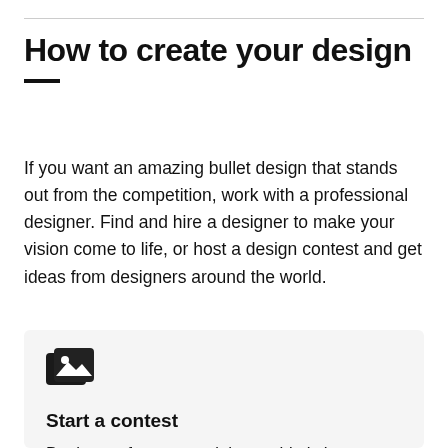How to create your design
If you want an amazing bullet design that stands out from the competition, work with a professional designer. Find and hire a designer to make your vision come to life, or host a design contest and get ideas from designers around the world.
[Figure (illustration): Icon representing design contest — layered image/photo cards icon in dark color]
Start a contest
Designers from around the world pitch you ideas. You provide feedback, hone your